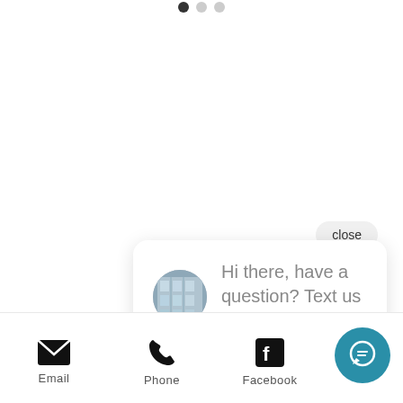[Figure (screenshot): Top pagination dots partially visible at top center of page]
close
Hi there, have a question? Text us here.
[Figure (infographic): Chat widget popup with avatar of a building, message text, and speech bubble tail]
[Figure (infographic): Bottom contact bar with Email, Phone, Facebook icons and labels, plus teal chat FAB button]